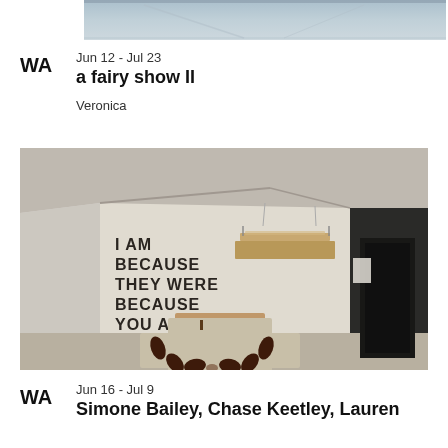[Figure (photo): Top of a previous exhibition photo, partially cropped — gray/blue toned interior]
WA   Jun 12 - Jul 23
a fairy show II

Veronica
[Figure (photo): Gallery interior showing artwork installation: wall text reading 'I AM BECAUSE THEY WERE BECAUSE YOU ARE' in large stencil font, a suspended wooden platform overhead, and a square wooden box construction on the floor with a patterned rug/mat featuring dark leaf/teardrop shapes around it]
WA   Jun 16 - Jul 9
Simone Bailey, Chase Keetley, Lauren